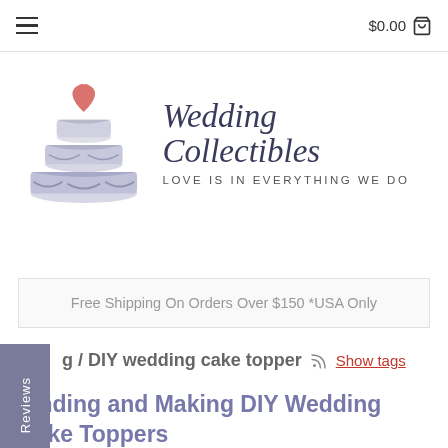$0.00
[Figure (logo): Wedding Collectibles logo with a tiered wedding cake topped with a pink heart and ribbon decorations. Text reads 'Wedding Collectibles' in italic serif font, with tagline 'LOVE IS IN EVERYTHING WE DO' below.]
Free Shipping On Orders Over $150 *USA Only
Reviews
g / DIY wedding cake topper
Show tags
Finding and Making DIY Wedding Cake Toppers